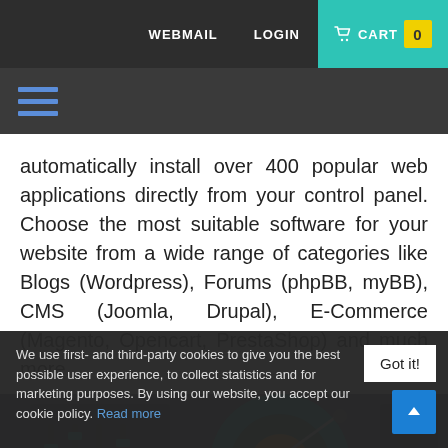WEBMAIL   LOGIN   🛒 CART  0
[Figure (other): Hamburger menu icon with three blue horizontal lines on dark background]
automatically install over 400 popular web applications directly from your control panel. Choose the most suitable software for your website from a wide range of categories like Blogs (Wordpress), Forums (phpBB, myBB), CMS (Joomla, Drupal), E-Commerce (Magento, Opencart, PrestaShop) and much more.
[Figure (illustration): Illustration of a vinyl record player / DJ turntable with teal and orange colors on a dark grey background]
We use first- and third-party cookies to give you the best possible user experience, to collect statistics and for marketing purposes. By using our website, you accept our cookie policy. Read more